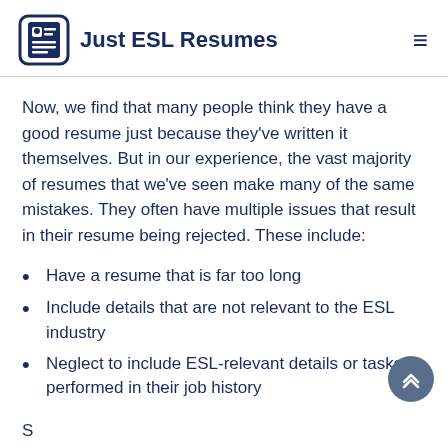Just ESL Resumes
Now, we find that many people think they have a good resume just because they've written it themselves. But in our experience, the vast majority of resumes that we've seen make many of the same mistakes. They often have multiple issues that result in their resume being rejected. These include:
Have a resume that is far too long
Include details that are not relevant to the ESL industry
Neglect to include ESL-relevant details or tasks performed in their job history